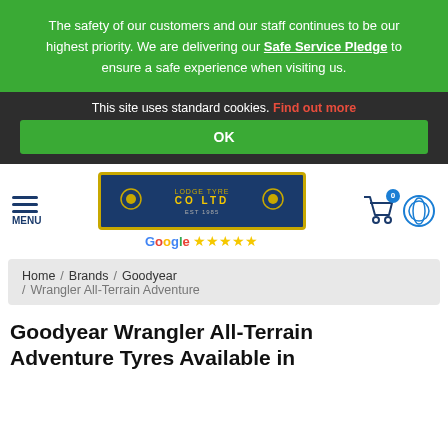The safety of our customers and our staff continues to be our highest priority. We are delivering our Safe Service Pledge to ensure a safe experience when visiting us.
This site uses standard cookies. Find out more
OK
[Figure (logo): Lodge Tyre Co Ltd logo — dark blue background with yellow text and border, with lightbulb decorations on each side]
Google ★★★★★
Home / Brands / Goodyear / Wrangler All-Terrain Adventure
Goodyear Wrangler All-Terrain Adventure Tyres Available in